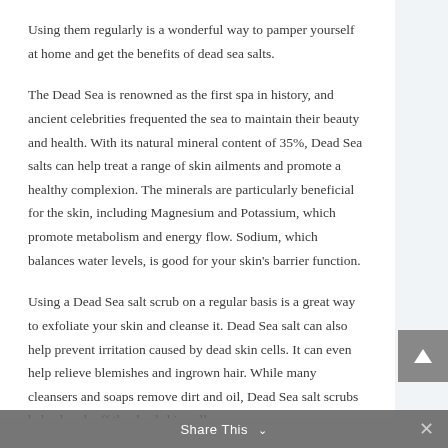Using them regularly is a wonderful way to pamper yourself at home and get the benefits of dead sea salts.
The Dead Sea is renowned as the first spa in history, and ancient celebrities frequented the sea to maintain their beauty and health. With its natural mineral content of 35%, Dead Sea salts can help treat a range of skin ailments and promote a healthy complexion. The minerals are particularly beneficial for the skin, including Magnesium and Potassium, which promote metabolism and energy flow. Sodium, which balances water levels, is good for your skin's barrier function.
Using a Dead Sea salt scrub on a regular basis is a great way to exfoliate your skin and cleanse it. Dead Sea salt can also help prevent irritation caused by dead skin cells. It can even help relieve blemishes and ingrown hair. While many cleansers and soaps remove dirt and oil, Dead Sea salt scrubs help slough off the dead skin cells.